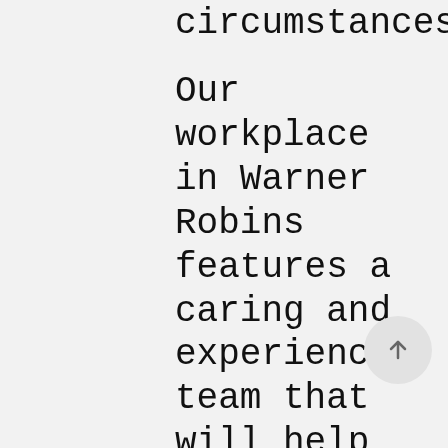circumstances.
Our workplace in Warner Robins features a caring and experienced team that will help you navigate these challenges in a private and way that is comprehensive. Our amazing Warner Robins financial obligation lawyer, Claire